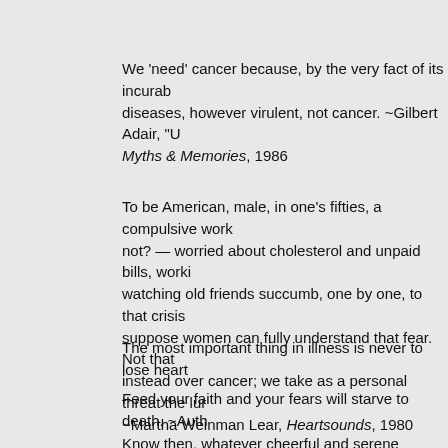We 'need' cancer because, by the very fact of its incurability, it enables us to give diseases, however virulent, not cancer. ~Gilbert Adair, "Myths & Memories", 1986
To be American, male, in one's fifties, a compulsive worker, how could one not? — worried about cholesterol and unpaid bills, working too hard, watching old friends succumb, one by one, to that crisis ... suppose women can fully understand that fear. Not that instead over cancer; we take as a personal threat the lur ~Martha Weinman Lear, Heartsounds, 1980
The most important thing in illness is never to lose heart
Feed your faith and your fears will starve to death. ~Auth
Know then, whatever cheerful and serene
Supports the mind supports the body too...
~John Armstrong, M.D., The Art of Preserving Health, 17